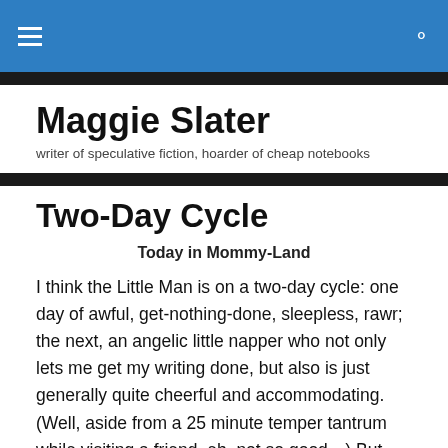Maggie Slater
Maggie Slater
writer of speculative fiction, hoarder of cheap notebooks
Two-Day Cycle
Today in Mommy-Land
I think the Little Man is on a two-day cycle: one day of awful, get-nothing-done, sleepless, rawr; the next, an angelic little napper who not only lets me get my writing done, but also is just generally quite cheerful and accommodating. (Well, aside from a 25 minute temper tantrum while visiting a friend–eh, not so good…) But